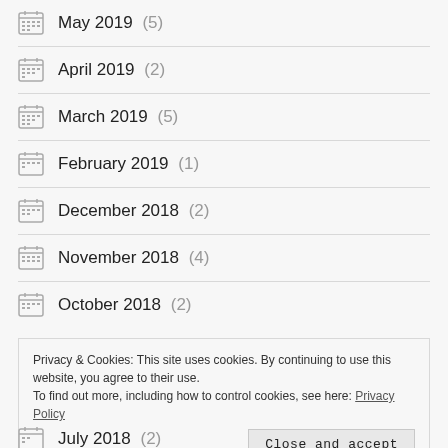May 2019 (5)
April 2019 (2)
March 2019 (5)
February 2019 (1)
December 2018 (2)
November 2018 (4)
October 2018 (2)
Privacy & Cookies: This site uses cookies. By continuing to use this website, you agree to their use. To find out more, including how to control cookies, see here: Privacy Policy
July 2018 (2)